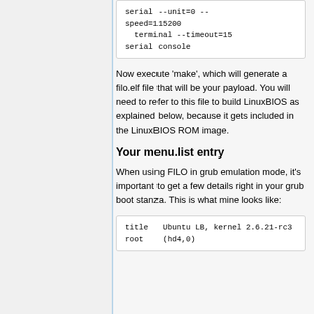serial --unit=0 --speed=115200
  terminal --timeout=15
serial console
Now execute 'make', which will generate a filo.elf file that will be your payload. You will need to refer to this file to build LinuxBIOS as explained below, because it gets included in the LinuxBIOS ROM image.
Your menu.list entry
When using FILO in grub emulation mode, it's important to get a few details right in your grub boot stanza. This is what mine looks like:
title   Ubuntu LB, kernel 2.6.21-rc3
root    (hd4,0)